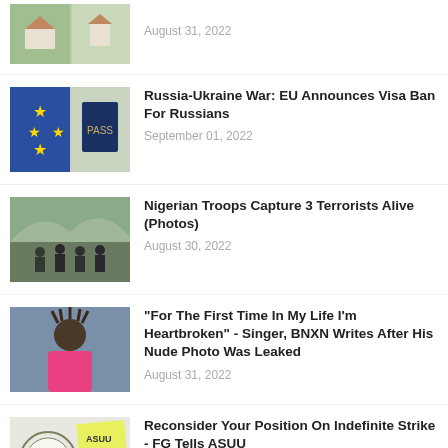(partial item at top) August 31, 2022
Russia-Ukraine War: EU Announces Visa Ban For Russians — September 01, 2022
Nigerian Troops Capture 3 Terrorists Alive (Photos) — August 30, 2022
"For The First Time In My Life I'm Heartbroken" - Singer, BNXN Writes After His Nude Photo Was Leaked — August 31, 2022
Reconsider Your Position On Indefinite Strike - FG Tells ASUU — August 31, 2022
I Have 'Addiction' To Porn And It Destroyed My Family, Because Know What...